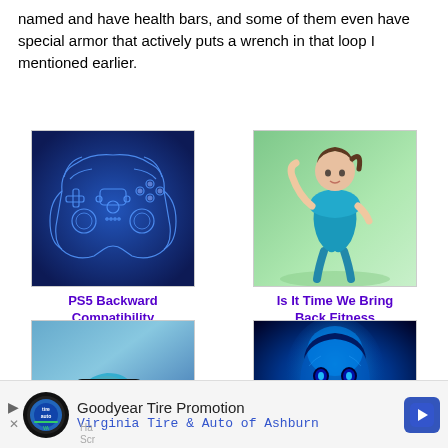named and have health bars, and some of them even have special armor that actively puts a wrench in that loop I mentioned earlier.
[Figure (photo): PS5 DualSense controller blueprint/schematic illustration on blue background]
PS5 Backward Compatibility
[Figure (photo): 3D animated fitness character in teal outfit on green background]
Is It Time We Bring Back Fitness Gaming?
[Figure (photo): Person wearing VR headset against blue/teal background]
[Figure (photo): Cortana-like blue glowing AI face character]
Goodyear Tire Promotion
Virginia Tire & Auto of Ashburn